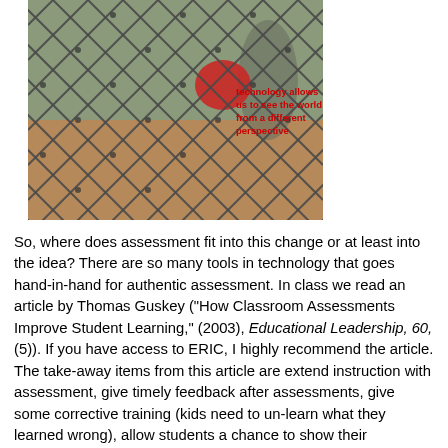[Figure (photo): A close-up photo of a chain-link fence with a blurred background showing a red ball and a person. Overlaid text reads: 'technology allows us to see the world from a different perspective']
So, where does assessment fit into this change or at least into the idea? There are so many tools in technology that goes hand-in-hand for authentic assessment. In class we read an article by Thomas Guskey ("How Classroom Assessments Improve Student Learning," (2003), Educational Leadership, 60, (5)). If you have access to ERIC, I highly recommend the article. The take-away items from this article are extend instruction with assessment, give timely feedback after assessments, give some corrective training (kids need to un-learn what they learned wrong), allow students a chance to show their knowledge through a second-chance test. Teachers need to get back to the basic reasons for assessment and the rest (high-stakes testing) will take care of itself. GoogleApps for Education offers (free of charge) a particular tool that is